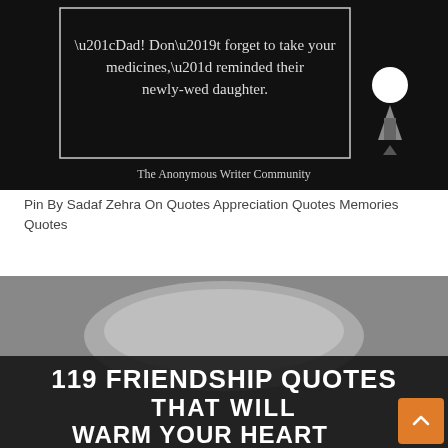[Figure (photo): Black background quote image. Text in white/light font: “Dad! Don’t forget to take your medicines,” reminded their newly-wed daughter. Logo of The Anonymous Writer Community in bottom right. Below the quote box text reads: The Anonymous Writer Community]
Pin By Sadaf Zehra On Quotes Appreciation Quotes Memories Quotes
[Figure (infographic): Grayscale photo of a coffee mug with winter knitting in background. Large bold white text overlay reads: 119 FRIENDSHIP QUOTES THAT WILL WARM YOUR HEART. Orange scroll-to-top button in bottom right corner.]